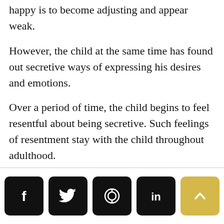happy is to become adjusting and appear weak.
However, the child at the same time has found out secretive ways of expressing his desires and emotions.
Over a period of time, the child begins to feel resentful about being secretive. Such feelings of resentment stay with the child throughout adulthood.
[Figure (other): Social share buttons: Facebook, Twitter, WhatsApp, LinkedIn (black rounded squares), and an up-arrow button (yellow rounded square)]